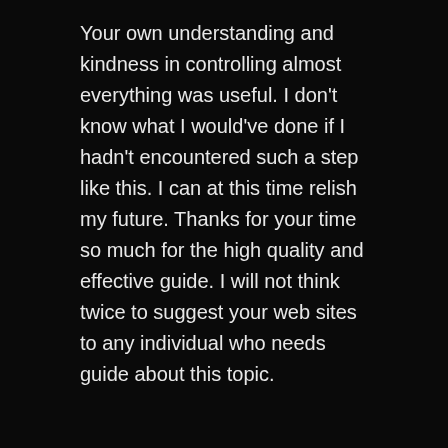Your own understanding and kindness in controlling almost everything was useful. I don't know what I would've done if I hadn't encountered such a step like this. I can at this time relish my future. Thanks for your time so much for the high quality and effective guide. I will not think twice to suggest your web sites to any individual who needs guide about this topic.